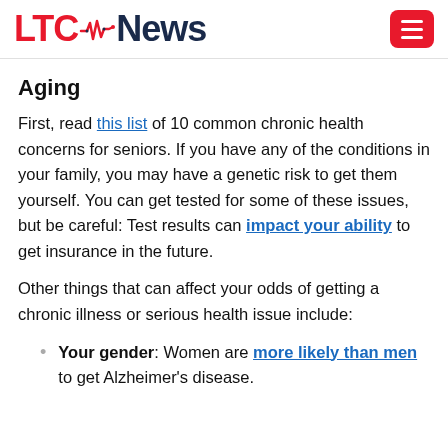LTC News
Aging
First, read this list of 10 common chronic health concerns for seniors. If you have any of the conditions in your family, you may have a genetic risk to get them yourself. You can get tested for some of these issues, but be careful: Test results can impact your ability to get insurance in the future.
Other things that can affect your odds of getting a chronic illness or serious health issue include:
Your gender: Women are more likely than men to get Alzheimer's disease.